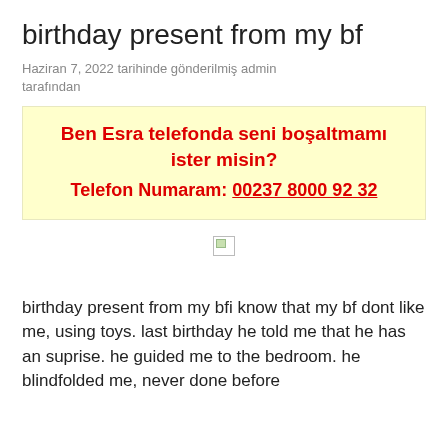birthday present from my bf
Haziran 7, 2022 tarihinde gönderilmiş admin tarafından
Ben Esra telefonda seni boşaltmamı ister misin?
Telefon Numaram: 00237 8000 92 32
[Figure (other): Broken image placeholder]
birthday present from my bfi know that my bf dont like me, using toys. last birthday he told me that he has an suprise. he guided me to the bedroom. he blindfolded me, never done before